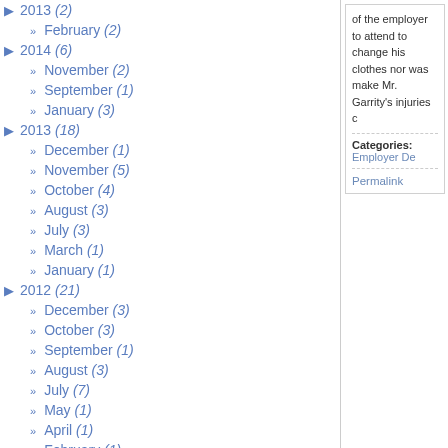2013 (2)
February (2)
2014 (6)
November (2)
September (1)
January (3)
2013 (18)
December (1)
November (5)
October (4)
August (3)
July (3)
March (1)
January (1)
2012 (21)
December (3)
October (3)
September (1)
August (3)
July (7)
May (1)
April (1)
February (1)
of the employer to attend to change his clothes nor was make Mr. Garrity's injuries c
Categories: Employer De
Permalink